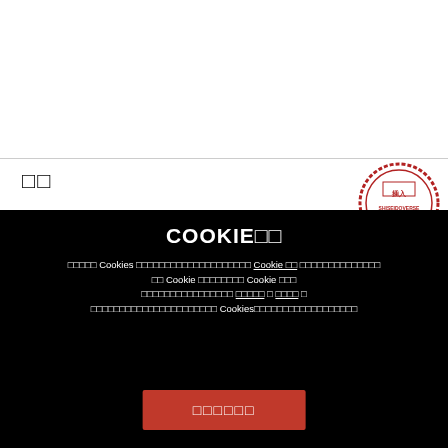□□
□□□□□□□□□□□□□□□□□□□□□□□□□□□□□□□□□□□□□□□□□□□□□□□□□□□□□□□□□□□□□□□□□□□□□□□□ActiveForce™ □□□□□□□□□□□□□□□□□□□□□□□□□□□□□□□□□□□□□□□□□□□□□□□□□□□□□□□□□□□□□□□□70□□□□□□□□□□□□□□□24□□□□□□□□□
[Figure (logo): Red circular stamp with Chinese text and SHISEIDOVERSE text]
[Figure (screenshot): WhatsApp chat button overlay with red background and green WhatsApp icon]
COOKIE□□
□□□□□ Cookies □□□□□□□□□□□□□□□□□□□□ Cookie □□ □□□□□□□□□□□□□□ □□ Cookie □□□□□□□□ Cookie □□□ □□□□□□□□□□□□□□□□ □□□□□ □ □□□□ □ □□□□□□□□□□□□□□□□□□□□□□□□ Cookies□□□□□□□□□□□□□□□□□□
□□□□□□